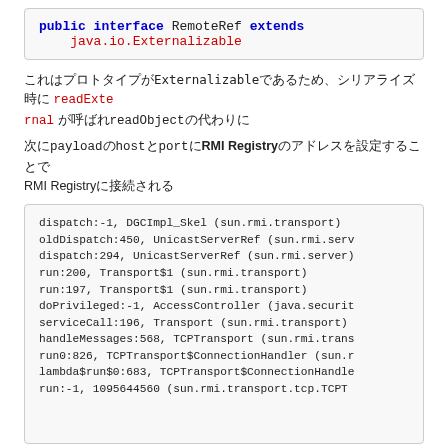[Figure (screenshot): Code block showing: public interface RemoteRef extends java.io.Externalizable]
ExternalizableのreadExternalはreadObjectの代わりに呼ばれる
payloadのhostとportにRMI Registryのアドレスを設定するとRMI Registryに接続される
[Figure (screenshot): Stack trace code block: dispatch:-1, DGCImpl_Skel (sun.rmi.transport) oldDispatch:450, UnicastServerRef (sun.rmi.serv... dispatch:294, UnicastServerRef (sun.rmi.server... run:200, Transport$1 (sun.rmi.transport) run:197, Transport$1 (sun.rmi.transport) doPrivileged:-1, AccessController (java.securit... serviceCall:196, Transport (sun.rmi.transport) handleMessages:568, TCPTransport (sun.rmi.trans... run0:826, TCPTransport$ConnectionHandler (sun.r... lambda$run$0:683, TCPTransport$ConnectionHandle... run:-1, 1095644560 (sun.rmi.transport.tcp.TCPT...]